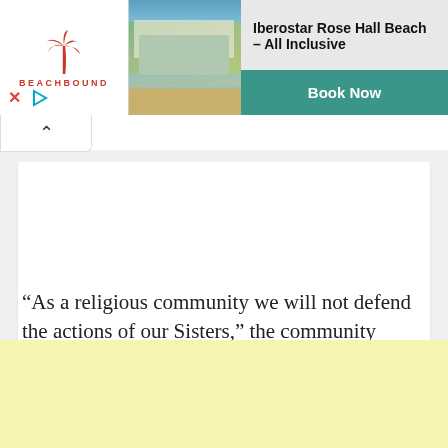[Figure (screenshot): Ad banner for Iberostar Rose Hall Beach All Inclusive by BeachBound, showing a resort photo, logo with palm tree, X and play icons, and a teal Book Now button]
“As a religious community we will not defend the actions of our Sisters,” the community wrote in a 2018 statement. “What happened is wrong. Our Sisters take full responsibility for the choices they
[Figure (other): Yellow/cream colored advertisement block at the bottom of the page]